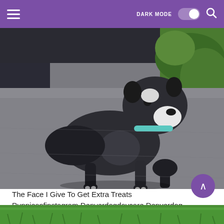DARK MODE [toggle] [search]
[Figure (photo): A small Boston Terrier puppy with black and white coloring and a light blue collar, standing on a grey carpet surface. Green foliage visible in the background.]
The Face I Give To Get Extra Treats Puppiesofinstagram Denverdogdaycare Denverdog Colorad Boston Terrier Puppy Boston Bull Terrier Boston Terrier Meme
[Figure (photo): Partial view of a green grass image at the bottom of the page.]